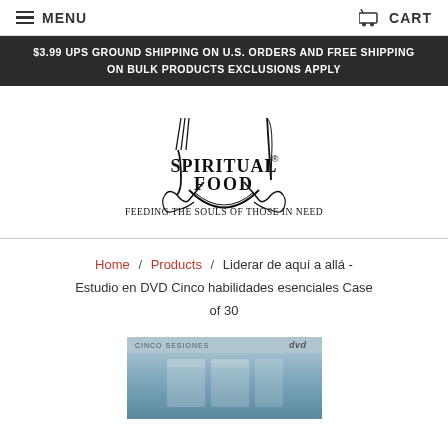MENU | CART
$3.99 UPS GROUND SHIPPING ON U.S. ORDERS AND FREE SHIPPING ON BULK PRODUCTS EXCLUSIONS APPLY
[Figure (logo): Spiritual Food logo with fork and knife held by two hands, bowl shape, text 'SPIRITUAL FOOD' and tagline 'FEEDING THE SOULS OF THOSE IN NEED']
Home / Products / Liderar de aquí a allá - Estudio en DVD Cinco habilidades esenciales Case of 30
[Figure (photo): DVD product image showing 'Cinco Sesiones' label at top with DVD logo]